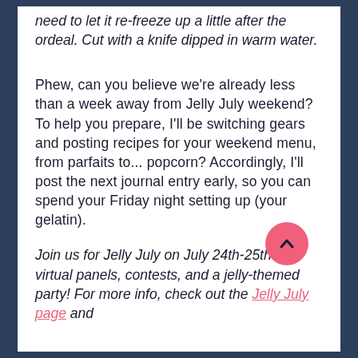need to let it re-freeze up a little after the ordeal. Cut with a knife dipped in warm water.
Phew, can you believe we're already less than a week away from Jelly July weekend? To help you prepare, I'll be switching gears and posting recipes for your weekend menu, from parfaits to... popcorn? Accordingly, I'll post the next journal entry early, so you can spend your Friday night setting up (your gelatin).
Join us for Jelly July on July 24th-25th for virtual panels, contests, and a jelly-themed party! For more info, check out the Jelly July page and